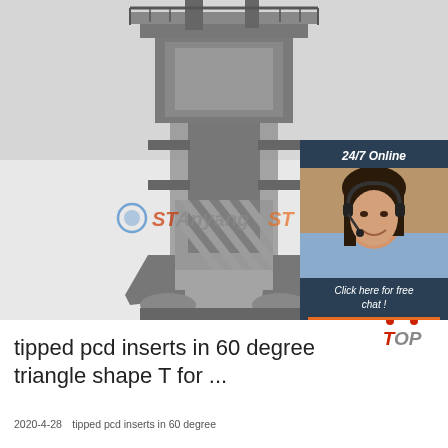[Figure (photo): Black and white photo of a large industrial forging/stamping machine (press) with gantry structure, viewed from below. Anyang ST watermark logo overlaid in center. Chat widget overlay on right side with '24/7 Online' header, woman with headset photo, 'Click here for free chat!' text, and orange QUOTATION button.]
tipped pcd inserts in 60 degree triangle shape T for ...
2020-4-28  tipped pcd inserts in 60 degree